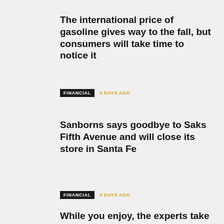The international price of gasoline gives way to the fall, but consumers will take time to notice it
FINANCIAL  3 DAYS AGO
Sanborns says goodbye to Saks Fifth Avenue and will close its store in Santa Fe
FINANCIAL  3 DAYS AGO
While you enjoy, the experts take care of making your investment grow
FINANCIAL  3 DAYS AGO